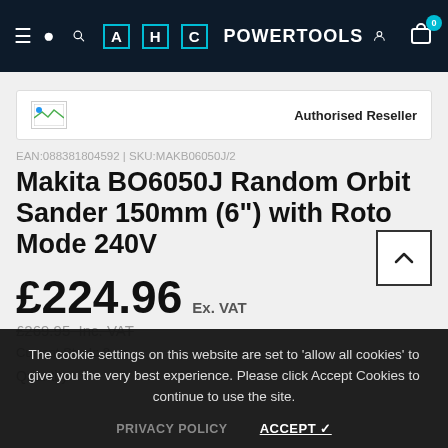AHC POWERTOOLS
[Figure (logo): Authorised Reseller banner with broken image placeholder on left and 'Authorised Reseller' text on right]
EAN:088381804592 | SKU:MAKB06050J/2
Makita BO6050J Random Orbit Sander 150mm (6") with Roto Mode 240V
£224.96 Ex. VAT
£269.95 Inc. VAT
Current Stock: 2
Quantity
The cookie settings on this website are set to 'allow all cookies' to give you the very best experience. Please click Accept Cookies to continue to use the site.
PRIVACY POLICY   ACCEPT ✓